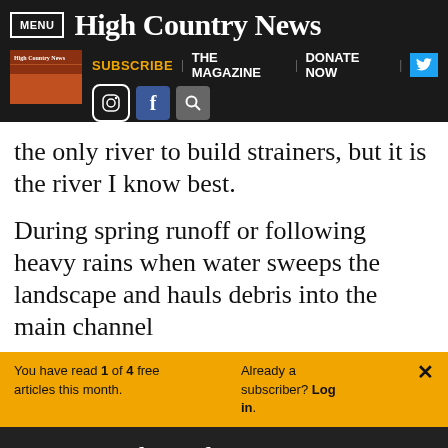MENU | High Country News
SUBSCRIBE | THE MAGAZINE | DONATE NOW
the only river to build strainers, but it is the river I know best.
During spring runoff or following heavy rains when water sweeps the landscape and hauls debris into the main channel
You have read 1 of 4 free articles this month. Already a subscriber? Log in. ×
Support independent journalism.
Subscribe